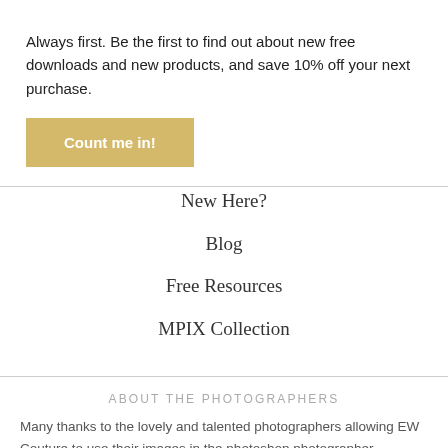Always first. Be the first to find out about new free downloads and new products, and save 10% off your next purchase.
Count me in!
New Here?
Blog
Free Resources
MPIX Collection
ABOUT THE PHOTOGRAPHERS
Many thanks to the lovely and talented photographers allowing EW Couture to use their images in the photoshop photographer